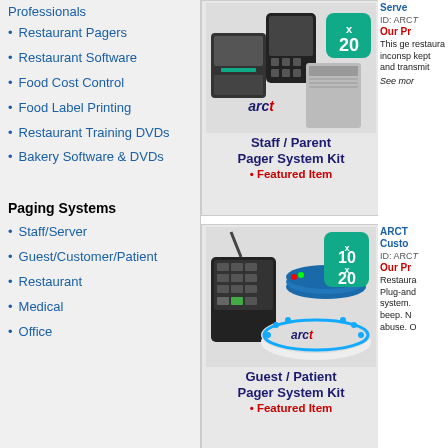Professionals
Restaurant Pagers
Restaurant Software
Food Cost Control
Food Label Printing
Restaurant Training DVDs
Bakery Software & DVDs
Paging Systems
Staff/Server
Guest/Customer/Patient
Restaurant
Medical
Office
[Figure (photo): Staff / Parent Pager System Kit product photo with arcf logo and x20 badge]
Staff / Parent Pager System Kit
• Featured Item
[Figure (photo): Guest / Patient Pager System Kit product photo with arcf logo and x10 x20 badge]
Guest / Patient Pager System Kit
• Featured Item
ID: ARCT
Our Pr
This ge restaurant inconsp kept and transmit
See mor
ARCT Custom
ID: ARCT
Our Pr
Restaura Plug-and system. beep. N abuse. O